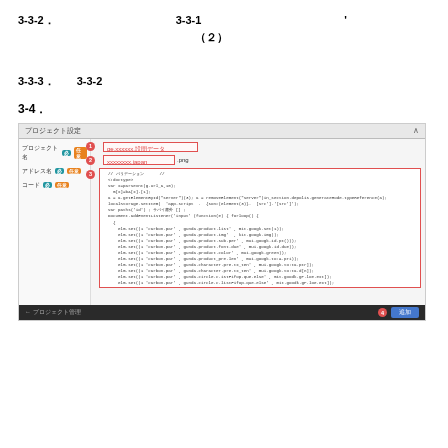3-3-2. 　　　　　　　　　　　 3-3-1　　　　　　　　　　　　　 '　　　　　　　　　　 （２）
3-3-3.　 3-3-2
3-4.
[Figure (screenshot): Screenshot of a web UI panel showing a code editor with red-outlined input fields labeled with circled numbers 1-4. The panel has a top bar labeled 'プロジェクト設定', fields for project name, address, and code on the left, with a large code editor area on the right showing JavaScript code. A dark bottom bar has a back button on the left and a blue action button on the right labeled '追加'.]